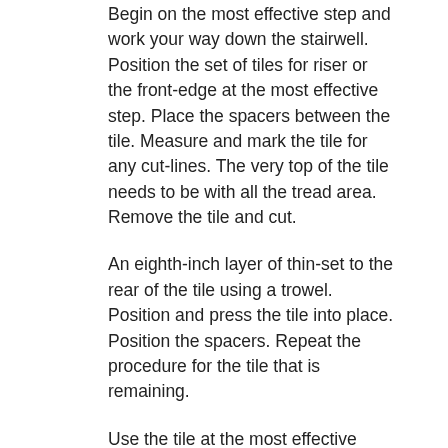Begin on the most effective step and work your way down the stairwell. Position the set of tiles for riser or the front-edge at the most effective step. Place the spacers between the tile. Measure and mark the tile for any cut-lines. The very top of the tile needs to be with all the tread area. Remove the tile and cut.
An eighth-inch layer of thin-set to the rear of the tile using a trowel. Position and press the tile into place. Position the spacers. Repeat the procedure for the tile that is remaining.
Use the tile at the most effective tread. Position the tile with spacers around the area. Mark the tile for slicing. Ensure that you position the front-edge of the tile in spite of the encounter of the tile on the riser. Remove and minimize the tile to the correct dimensions.
An eighth-inch layer of thin-set to the rear of the tile using a trowel. Position and press the tile in place, creating certain to line along side it edges of the tile together with the correct edges of the tile on the riser. S...